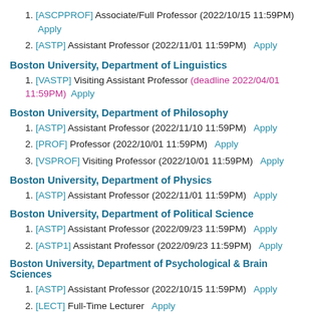1. [ASCPPROF] Associate/Full Professor (2022/10/15 11:59PM)  Apply
2. [ASTP] Assistant Professor (2022/11/01 11:59PM)  Apply
Boston University, Department of Linguistics
1. [VASTP] Visiting Assistant Professor (deadline 2022/04/01 11:59PM)  Apply
Boston University, Department of Philosophy
1. [ASTP] Assistant Professor (2022/11/10 11:59PM)  Apply
2. [PROF] Professor (2022/10/01 11:59PM)  Apply
3. [VSPROF] Visiting Professor (2022/10/01 11:59PM)  Apply
Boston University, Department of Physics
1. [ASTP] Assistant Professor (2022/11/01 11:59PM)  Apply
Boston University, Department of Political Science
1. [ASTP] Assistant Professor (2022/09/23 11:59PM)  Apply
2. [ASTP1] Assistant Professor (2022/09/23 11:59PM)  Apply
Boston University, Department of Psychological & Brain Sciences
1. [ASTP] Assistant Professor (2022/10/15 11:59PM)  Apply
2. [LECT] Full-Time Lecturer  Apply